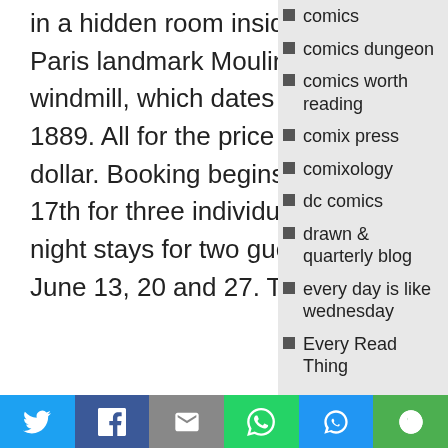in a hidden room inside the Paris landmark Moulin Rouge windmill, which dates back to 1889. All for the price of only a dollar. Booking begins on May 17th for three individual one-night stays for two guests on June 13, 20 and 27. The
comics
comics dungeon
comics worth reading
comix press
comixology
dc comics
drawn & quarterly blog
every day is like wednesday
Every Read Thing